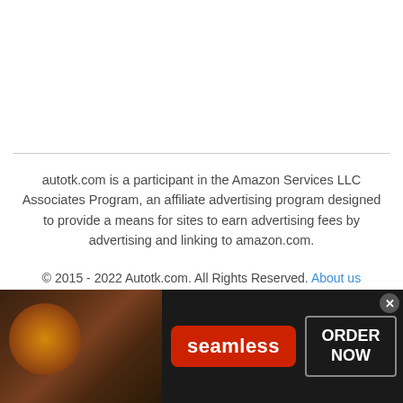autotk.com is a participant in the Amazon Services LLC Associates Program, an affiliate advertising program designed to provide a means for sites to earn advertising fees by advertising and linking to amazon.com.
© 2015 - 2022 Autotk.com. All Rights Reserved. About us
[Figure (other): Seamless food delivery advertisement banner showing pizza image on the left, Seamless logo in red pill-shaped badge in the center, and ORDER NOW button in a grey-bordered box on the right, all on a dark background.]